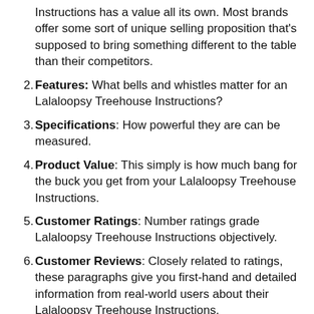Instructions has a value all its own. Most brands offer some sort of unique selling proposition that's supposed to bring something different to the table than their competitors.
Features: What bells and whistles matter for an Lalaloopsy Treehouse Instructions?
Specifications: How powerful they are can be measured.
Product Value: This simply is how much bang for the buck you get from your Lalaloopsy Treehouse Instructions.
Customer Ratings: Number ratings grade Lalaloopsy Treehouse Instructions objectively.
Customer Reviews: Closely related to ratings, these paragraphs give you first-hand and detailed information from real-world users about their Lalaloopsy Treehouse Instructions.